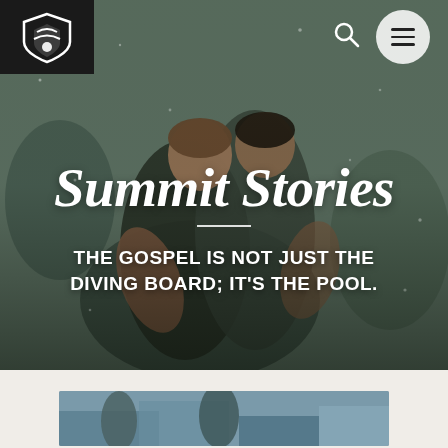[Figure (photo): Hero image of two men hugging outdoors in a crowd, with a dark overlay. Navigation bar with black logo box (white shield/logo icon), search icon, and circular menu button on right.]
Summit Stories
THE GOSPEL IS NOT JUST THE DIVING BOARD; IT'S THE POOL.
[Figure (photo): Partial bottom strip showing the top edge of a second photo with blue/teal tones.]